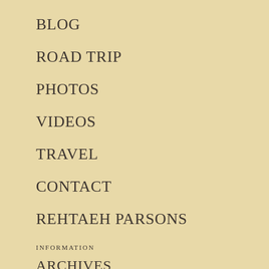BLOG
ROAD TRIP
PHOTOS
VIDEOS
TRAVEL
CONTACT
REHTAEH PARSONS
INFORMATION
ARCHIVES
LEGAL